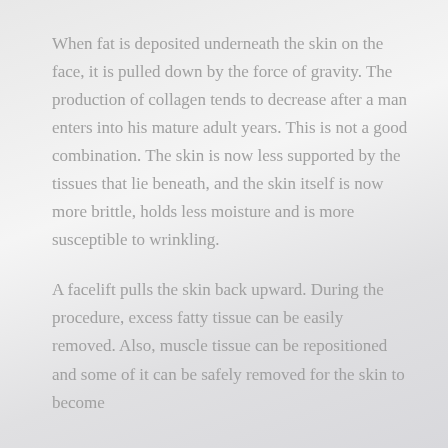When fat is deposited underneath the skin on the face, it is pulled down by the force of gravity. The production of collagen tends to decrease after a man enters into his mature adult years. This is not a good combination. The skin is now less supported by the tissues that lie beneath, and the skin itself is now more brittle, holds less moisture and is more susceptible to wrinkling.
A facelift pulls the skin back upward. During the procedure, excess fatty tissue can be easily removed. Also, muscle tissue can be repositioned and some of it can be safely removed for the skin to become